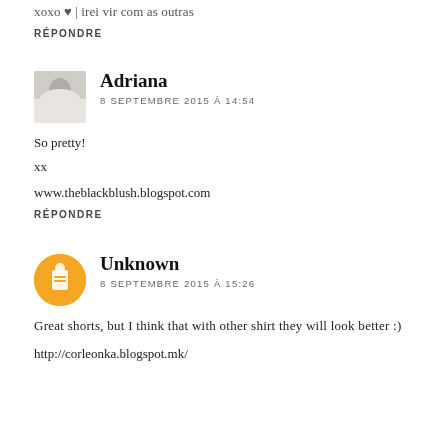xoxo ♥ | irei vir com as outras
RÉPONDRE
Adriana
8 SEPTEMBRE 2015 À 14:54
So pretty!
xx
www.theblackblush.blogspot.com
RÉPONDRE
Unknown
8 SEPTEMBRE 2015 À 15:26
Great shorts, but I think that with other shirt they will look better :)
http://corleonka.blogspot.mk/